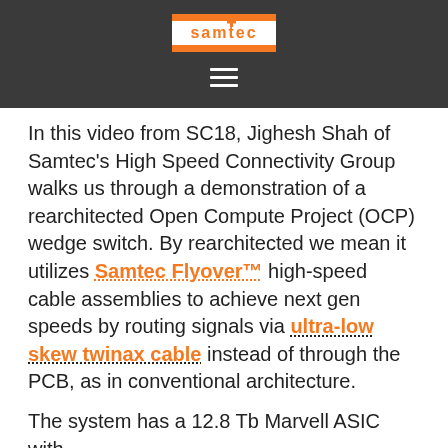Samtec
In this video from SC18, Jignesh Shah of Samtec's High Speed Connectivity Group walks us through a demonstration of a rearchitected Open Compute Project (OCP) wedge switch. By rearchitected we mean it utilizes Samtec Flyover™ high-speed cable assemblies to achieve next gen speeds by routing signals via ultra-low skew twinax cable instead of through the PCB, as in conventional architecture.
The system has a 12.8 Tb Marvell ASIC with